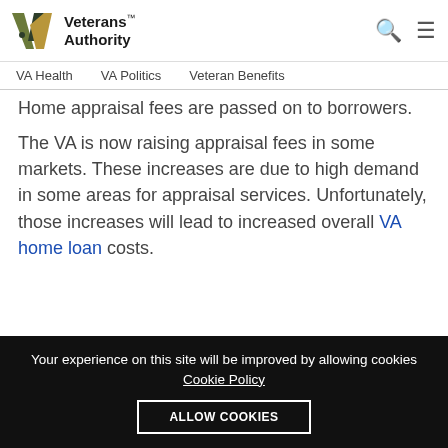[Figure (logo): Veterans Authority logo with stylized V shape in olive green, dark green, and gold colors, followed by text 'Veterans™ Authority']
VA Health   VA Politics   Veteran Benefits
Home appraisal fees are passed on to borrowers.
The VA is now raising appraisal fees in some markets. These increases are due to high demand in some areas for appraisal services. Unfortunately, those increases will lead to increased overall VA home loan costs.
Your experience on this site will be improved by allowing cookies Cookie Policy ALLOW COOKIES